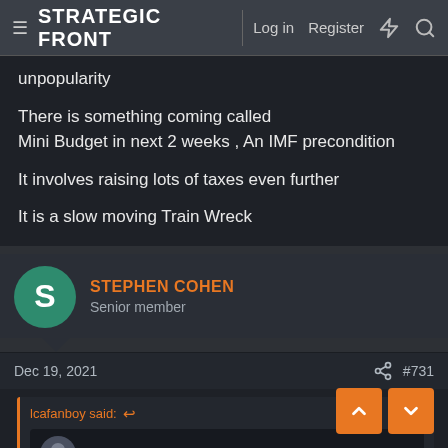STRATEGIC FRONT | Log in | Register
unpopularity

There is something coming called
Mini Budget in next 2 weeks , An IMF precondition

It involves raising lots of taxes even further

It is a slow moving Train Wreck
STEPHEN COHEN
Senior member
Dec 19, 2021 #731
lcafanboy said: ↩
Professor Bibwit Harte